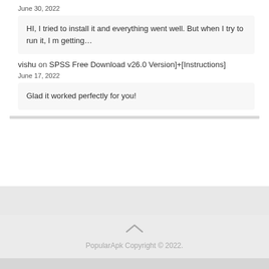June 30, 2022
HI, I tried to install it and everything went well. But when I try to run it, I m getting…
vishu on SPSS Free Download v26.0 Version]+[Instructions]
June 17, 2022
Glad it worked perfectly for you!
PopularApk Copyright © 2022.